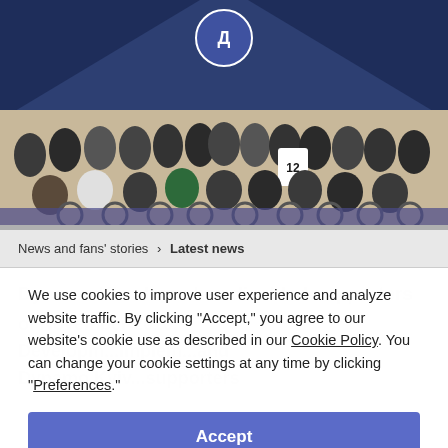[Figure (photo): Group photo of Dynamo Kyiv players and staff with disabled supporters in wheelchairs inside a conference room with a Dynamo Kyiv logo on the blue wall behind them. A jersey with number 12 is being held up in the group.]
News and fans' stories > Latest news
Dynamo Kiev launches disabled supporters
We use cookies to improve user experience and analyze website traffic. By clicking “Accept,” you agree to our website’s cookie use as described in our Cookie Policy. You can change your cookie settings at any time by clicking “Preferences.”
Accept
of November 2010,
Developm...implem...and
Dynamo Kyiv...supporters